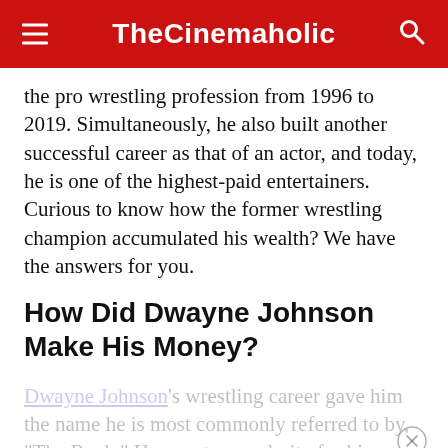TheCinemaholic
the pro wrestling profession from 1996 to 2019. Simultaneously, he also built another successful career as that of an actor, and today, he is one of the highest-paid entertainers. Curious to know how the former wrestling champion accumulated his wealth? We have the answers for you.
How Did Dwayne Johnson Make His Money?
Dwayne Johnson's wrestling career gave him the name he is most commonly referred to by, “The Rock.” He rose to popularity for his